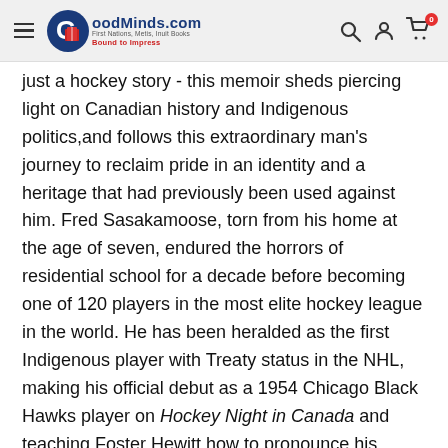GoodMinds.com — First Nations, Metis, Inuit Books — Bound to Impress
just a hockey story - this memoir sheds piercing light on Canadian history and Indigenous politics,and follows this extraordinary man's journey to reclaim pride in an identity and a heritage that had previously been used against him. Fred Sasakamoose, torn from his home at the age of seven, endured the horrors of residential school for a decade before becoming one of 120 players in the most elite hockey league in the world. He has been heralded as the first Indigenous player with Treaty status in the NHL, making his official debut as a 1954 Chicago Black Hawks player on Hockey Night in Canada and teaching Foster Hewitt how to pronounce his name. Sasakamoose played against such legends as Gordie Howe, Jean Beliveau, and Maurice Richard. After twelve games, he